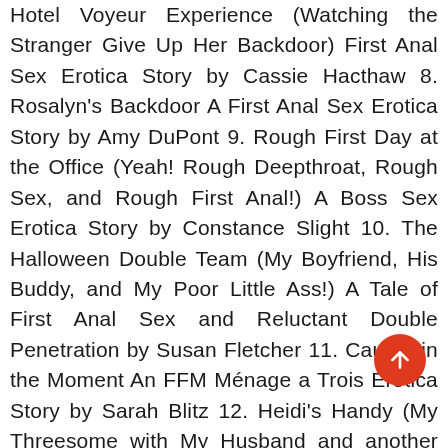Hotel Voyeur Experience (Watching the Stranger Give Up Her Backdoor) First Anal Sex Erotica Story by Cassie Hacthaw 8. Rosalyn's Backdoor A First Anal Sex Erotica Story by Amy DuPont 9. Rough First Day at the Office (Yeah! Rough Deepthroat, Rough Sex, and Rough First Anal!) A Boss Sex Erotica Story by Constance Slight 10. The Halloween Double Team (My Boyfriend, His Buddy, and My Poor Little Ass!) A Tale of First Anal Sex and Reluctant Double Penetration by Susan Fletcher 11. Caught in the Moment An FFM Ménage a Trois Erotica Story by Sarah Blitz 12. Heidi's Handy (My Threesome with My Husband and another Girl) An FFM Ménage a Trois Erotica Story By Susan Fletcher 13. Lynn Join (My Threesome with My Husband and My Friend) An FFM Ménage a Trois Erotica Story with First Anal Sex By Amy Dupont 14. Mika, Manny, and Me (When I Suddenly Ended Up in a Threesome) An FFM Ménage a Trois Erotica Story